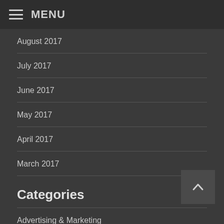MENU
August 2017
July 2017
June 2017
May 2017
April 2017
March 2017
Categories
Advertising & Marketing
airfare